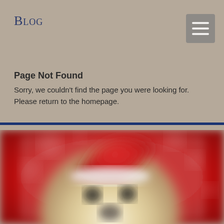Blog
Page Not Found
Sorry, we couldn't find the page you were looking for. Please return to the homepage.
[Figure (photo): Blurred photo of a yellow Labrador puppy wearing a red Santa Claus hat against a red holiday background with bokeh lights]